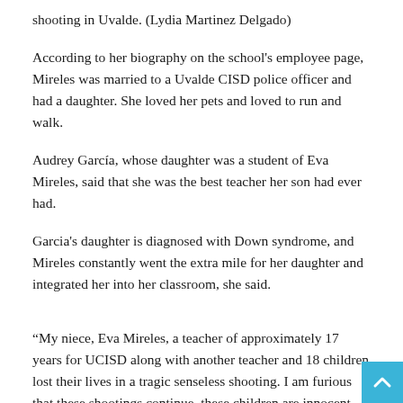shooting in Uvalde. (Lydia Martinez Delgado)
According to her biography on the school's employee page, Mireles was married to a Uvalde CISD police officer and had a daughter. She loved her pets and loved to run and walk.
Audrey García, whose daughter was a student of Eva Mireles, said that she was the best teacher her son had ever had.
Garcia's daughter is diagnosed with Down syndrome, and Mireles constantly went the extra mile for her daughter and integrated her into her classroom, she said.
“My niece, Eva Mireles, a teacher of approximately 17 years for UCISD along with another teacher and 18 children lost their lives in a tragic senseless shooting. I am furious that these shootings continue, these children are innocent, rifles should not be easily available to everyone. This is my hometown...